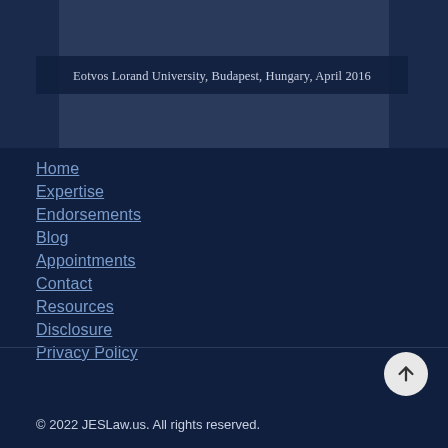[Figure (photo): Group photo of people on stairs, Eotvos Lorand University, Budapest, Hungary, April 2016]
Eotvos Lorand University, Budapest, Hungary, April 2016
Home
Expertise
Endorsements
Blog
Appointments
Contact
Resources
Disclosure
Privacy Policy
© 2022 JESLaw.us. All rights reserved.